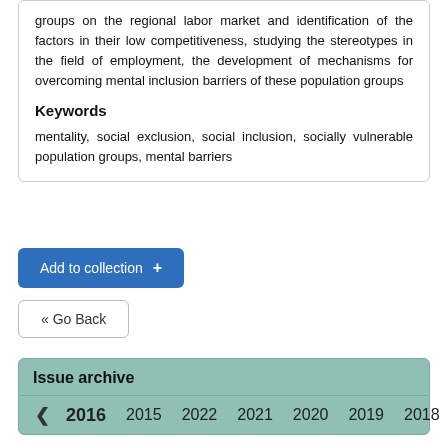groups on the regional labor market and identification of the factors in their low competitiveness, studying the stereotypes in the field of employment, the development of mechanisms for overcoming mental inclusion barriers of these population groups
Keywords
mentality, social exclusion, social inclusion, socially vulnerable population groups, mental barriers
Add to collection +
« Go Back
Issue archive
2016 2015 2022 2021 2020 2019 2018